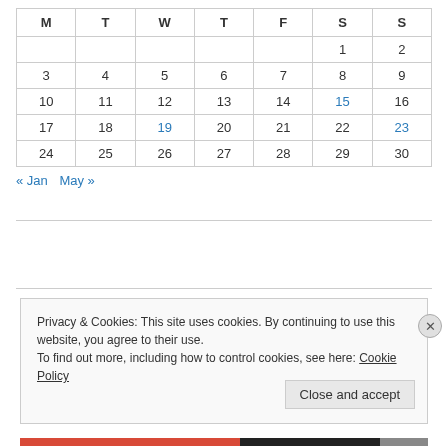| M | T | W | T | F | S | S |
| --- | --- | --- | --- | --- | --- | --- |
|  |  |  |  |  | 1 | 2 |
| 3 | 4 | 5 | 6 | 7 | 8 | 9 |
| 10 | 11 | 12 | 13 | 14 | 15 | 16 |
| 17 | 18 | 19 | 20 | 21 | 22 | 23 |
| 24 | 25 | 26 | 27 | 28 | 29 | 30 |
« Jan   May »
Privacy & Cookies: This site uses cookies. By continuing to use this website, you agree to their use. To find out more, including how to control cookies, see here: Cookie Policy
Close and accept